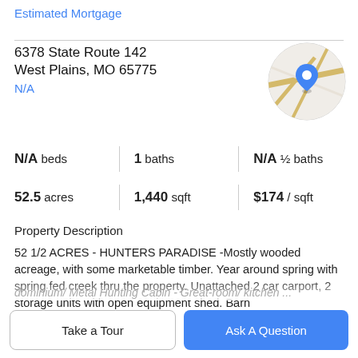Estimated Mortgage
6378 State Route 142
West Plains, MO 65775
N/A
[Figure (map): Circular map thumbnail showing a location pin marker on a street map]
N/A beds | 1 baths | N/A ½ baths
52.5 acres | 1,440 sqft | $174 / sqft
Property Description
52 1/2 ACRES - HUNTERS PARADISE -Mostly wooded acreage, with some marketable timber. Year around spring with spring fed creek thru the property. Unattached 2 car carport, 2 storage units with open equipment shed. Barn
dominium/ Metal Hunting Cabin - Great-room/ kitchen...
Take a Tour
Ask A Question